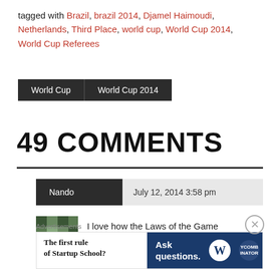tagged with Brazil, brazil 2014, Djamel Haimoudi, Netherlands, Third Place, world cup, World Cup 2014, World Cup Referees
World Cup | World Cup 2014
49 COMMENTS
Nando — July 12, 2014 3:58 pm
I love how the Laws of the Game
Advertisements — The first rule of Startup School? Ask questions.